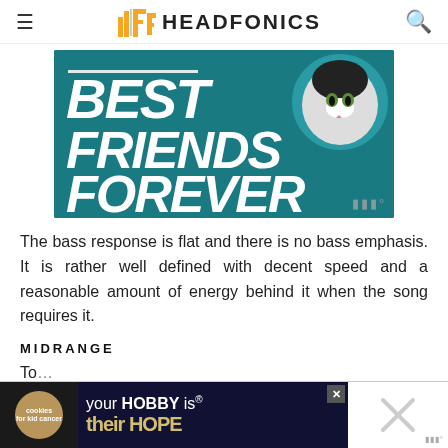HEADFONICS
[Figure (illustration): Promotional image with teal background showing 'BEST FRIENDS FOREVER' text in large white italic bold font, with a circular cat portrait in upper right corner and a watermark in lower right.]
The bass response is flat and there is no bass emphasis. It is rather well defined with decent speed and a reasonable amount of energy behind it when the song requires it.
MIDRANGE
[Figure (screenshot): Advertisement banner at bottom of page. Left: cookies for kid cancer logo on dark background with hands holding a heart cookie. Middle: dark blue background with 'your HOBBY is their HOPE' text. Right: partial white section with X close button.]